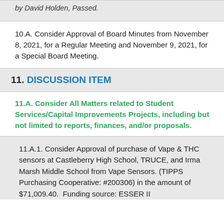by David Holden, Passed.
10.A. Consider Approval of Board Minutes from November 8, 2021, for a Regular Meeting and November 9, 2021, for a Special Board Meeting.
11. DISCUSSION ITEM
11.A. Consider All Matters related to Student Services/Capital Improvements Projects, including but not limited to reports, finances, and/or proposals.
11.A.1. Consider Approval of purchase of Vape & THC sensors at Castleberry High School, TRUCE, and Irma Marsh Middle School from Vape Sensors. (TIPPS Purchasing Cooperative: #200306) in the amount of $71,009.40.  Funding source: ESSER II